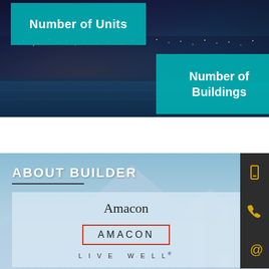[Figure (photo): City night skyline with water reflection, dark blue and purple tones with lights]
Number of Units
Number of Buildings
ABOUT BUILDER
Amacon
[Figure (logo): AMACON logo with red border rectangle, text AMACON in spaced letters, LIVE WELL below]
[Figure (photo): City daytime skyline with blue sky and mountains in background]